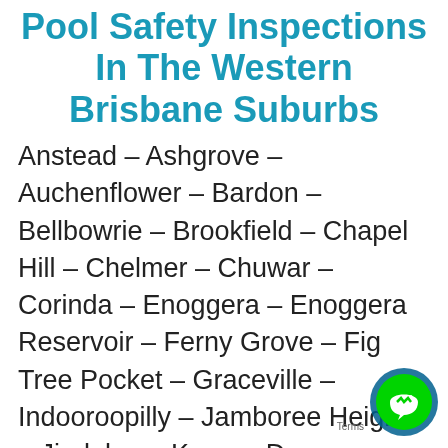Pool Safety Inspections In The Western Brisbane Suburbs
Anstead – Ashgrove – Auchenflower – Bardon – Bellbowrie – Brookfield – Chapel Hill – Chelmer – Chuwar – Corinda – Enoggera – Enoggera Reservoir – Ferny Grove – Fig Tree Pocket – Graceville – Indooroopilly – Jamboree Heights – Jindalee – Karana Downs – Kenmore – Kenmore Hills – Kholo – Lake Manchester – Middle Park – Milton – Moggill – Mount Coot-tha – Mount Crosby –